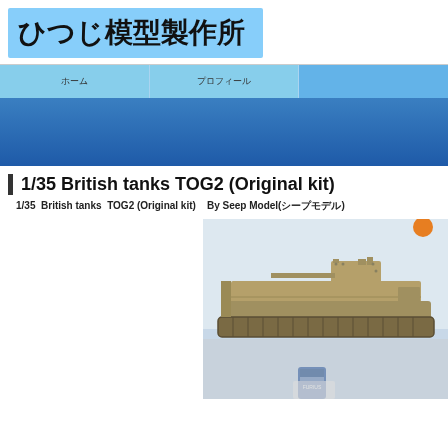ひつじ模型製作所
ホーム　　　　　プロフィール
[Figure (screenshot): Blue gradient banner area]
1/35 British tanks TOG2 (Original kit)
1/35  British tanks  TOG2 (Original kit)   By Seep Model(シープモデル)
[Figure (photo): Photo of a 1/35 scale model of the British TOG2 tank, shown in sand/khaki color against a light blue background, with a blue tube/bottle visible at bottom]